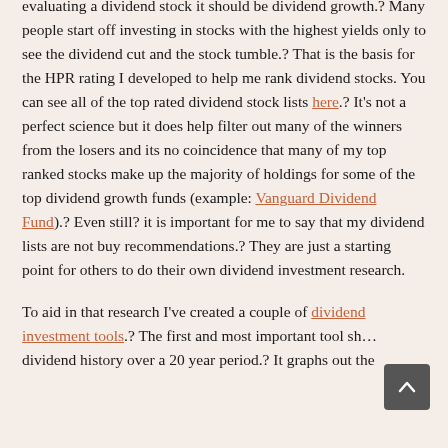evaluating a dividend stock it should be dividend growth.? Many people start off investing in stocks with the highest yields only to see the dividend cut and the stock tumble.? That is the basis for the HPR rating I developed to help me rank dividend stocks. You can see all of the top rated dividend stock lists here.? It's not a perfect science but it does help filter out many of the winners from the losers and its no coincidence that many of my top ranked stocks make up the majority of holdings for some of the top dividend growth funds (example: Vanguard Dividend Fund).? Even still? it is important for me to say that my dividend lists are not buy recommendations.? They are just a starting point for others to do their own dividend investment research.
To aid in that research I've created a couple of dividend investment tools.? The first and most important tool sh... dividend history over a 20 year period.? It graphs out the